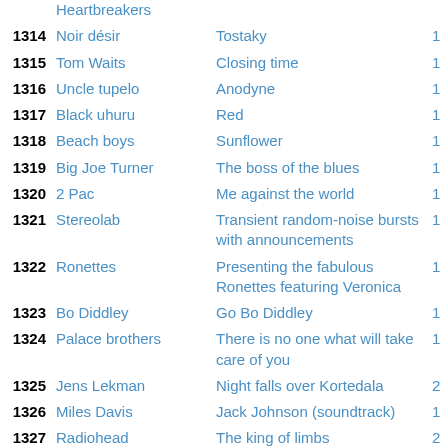| # | Artist | Album | Year |
| --- | --- | --- | --- |
|  | Heartbreakers |  |  |
| 1314 | Noir désir | Tostaky | 1 |
| 1315 | Tom Waits | Closing time | 1 |
| 1316 | Uncle tupelo | Anodyne | 1 |
| 1317 | Black uhuru | Red | 1 |
| 1318 | Beach boys | Sunflower | 1 |
| 1319 | Big Joe Turner | The boss of the blues | 1 |
| 1320 | 2 Pac | Me against the world | 1 |
| 1321 | Stereolab | Transient random-noise bursts with announcements | 1 |
| 1322 | Ronettes | Presenting the fabulous Ronettes featuring Veronica | 1 |
| 1323 | Bo Diddley | Go Bo Diddley | 1 |
| 1324 | Palace brothers | There is no one what will take care of you | 1 |
| 1325 | Jens Lekman | Night falls over Kortedala | 2 |
| 1326 | Miles Davis | Jack Johnson (soundtrack) | 1 |
| 1327 | Radiohead | The king of limbs | 2 |
| 1328 | These new puritans | Hidden | 2 |